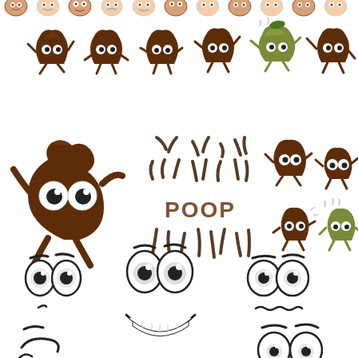[Figure (illustration): Clip art sheet of cartoon poop emoji characters in various poses and expressions, plus a word 'POOP' in brown text, and various cartoon face expressions (large eyes with different mouth expressions) at the bottom.]